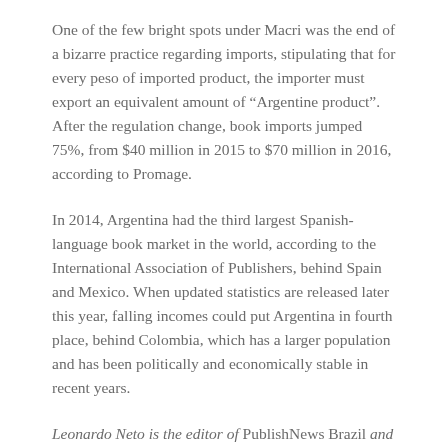One of the few bright spots under Macri was the end of a bizarre practice regarding imports, stipulating that for every peso of imported product, the importer must export an equivalent amount of “Argentine product”. After the regulation change, book imports jumped 75%, from $40 million in 2015 to $70 million in 2016, according to Promage.
In 2014, Argentina had the third largest Spanish-language book market in the world, according to the International Association of Publishers, behind Spain and Mexico. When updated statistics are released later this year, falling incomes could put Argentina in fourth place, behind Colombia, which has a larger population and has been politically and economically stable in recent years.
Leonardo Neto is the editor of PublishNews Brazil and contributed reporting from the Buenos Aires International